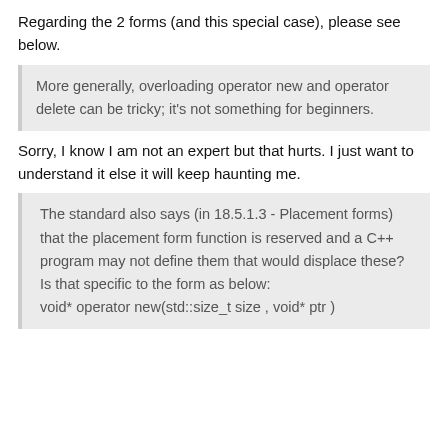Regarding the 2 forms (and this special case), please see below.
More generally, overloading operator new and operator delete can be tricky; it's not something for beginners.
Sorry, I know I am not an expert but that hurts. I just want to understand it else it will keep haunting me.
The standard also says (in 18.5.1.3 - Placement forms) that the placement form function is reserved and a C++ program may not define them that would displace these? Is that specific to the form as below: void* operator new(std::size_t size , void* ptr )